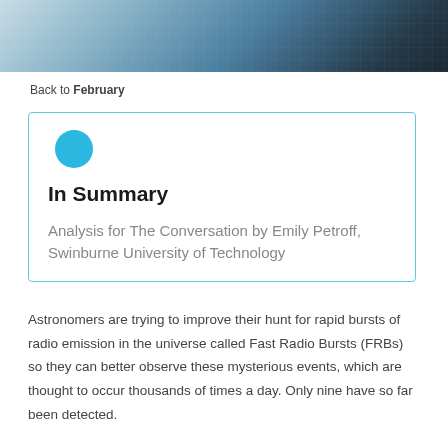[Figure (photo): Top portion of a building with glass windows and dark facade, photographed from a low angle looking upward.]
Back to February
In Summary
Analysis for The Conversation by Emily Petroff, Swinburne University of Technology
Astronomers are trying to improve their hunt for rapid bursts of radio emission in the universe called Fast Radio Bursts (FRBs) so they can better observe these mysterious events, which are thought to occur thousands of times a day. Only nine have so far been detected.